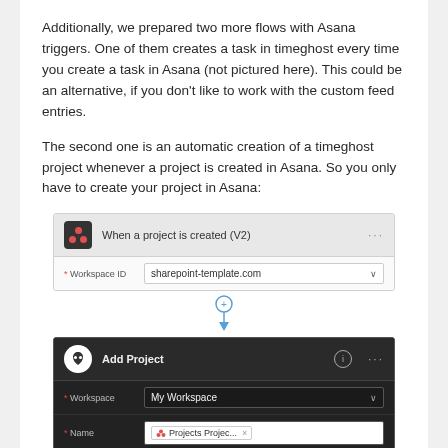Additionally, we prepared two more flows with Asana triggers. One of them creates a task in timeghost every time you create a task in Asana (not pictured here). This could be an alternative, if you don't like to work with the custom feed entries.
The second one is an automatic creation of a timeghost project whenever a project is created in Asana. So you only have to create your project in Asana:
[Figure (screenshot): Screenshot of a Power Automate flow. Top block: 'When a project is created (V2)' with Asana icon, Workspace ID field set to 'sharepoint-template.com'. Connector arrow between blocks. Bottom block: 'Add Project' with timeghost icon, fields: Workspace = My Workspace, Name = Projects Projec... (with Asana tag and x), Client = timeghost.]